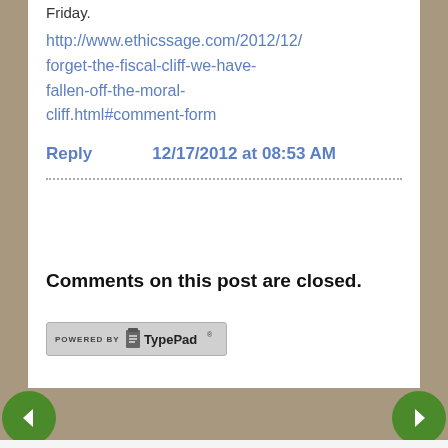Friday.
http://www.ethicssage.com/2012/12/forget-the-fiscal-cliff-we-have-fallen-off-the-moral-cliff.html#comment-form
Reply          12/17/2012 at 08:53 AM
Comments on this post are closed.
[Figure (logo): Powered by TypePad badge/logo]
Navigation arrows: back and forward